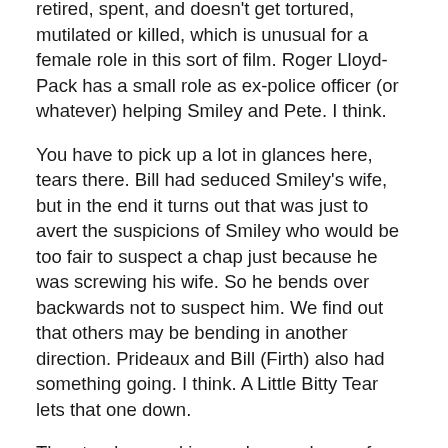retired, spent, and doesn't get tortured, mutilated or killed, which is unusual for a female role in this sort of film. Roger Lloyd-Pack has a small role as ex-police officer (or whatever) helping Smiley and Pete. I think.
You have to pick up a lot in glances here, tears there. Bill had seduced Smiley's wife, but in the end it turns out that was just to avert the suspicions of Smiley who would be too fair to suspect a chap just because he was screwing his wife. So he bends over backwards not to suspect him. We find out that others may be bending in another direction. Prideaux and Bill (Firth) also had something going. I think. A Little Bitty Tear lets that one down.
The steady speed is a welcome change from all action car chase shoot em-ups. I think there are no more than four gunshots in the entire film, all with chilling effect. The accidental shooting of a bystander breastfeeding her baby